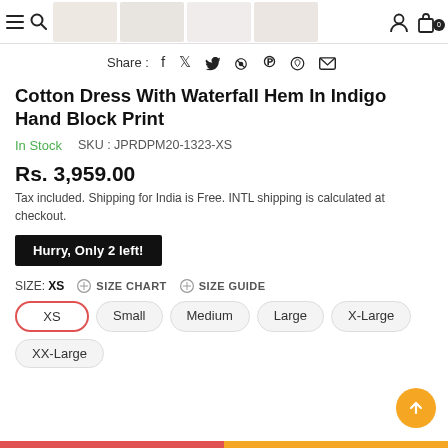Navigation header with menu, search icons and product thumbnails
Share : [facebook] [twitter] [pinterest] [whatsapp] [email]
Cotton Dress With Waterfall Hem In Indigo Hand Block Print
In Stock   SKU : JPRDPM20-1323-XS
Rs. 3,959.00
Tax included. Shipping for India is Free. INTL shipping is calculated at checkout.
Hurry, Only 2 left!
SIZE: XS   SIZE CHART   SIZE GUIDE
XS  Small  Medium  Large  X-Large  XX-Large